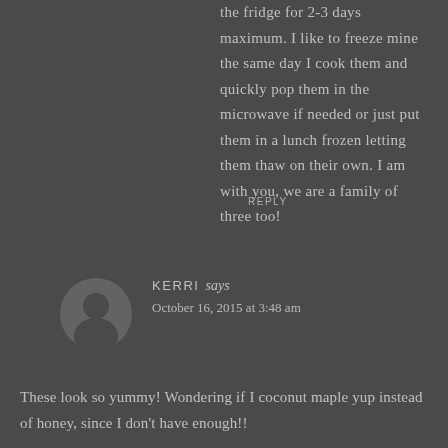the fridge for 2-3 days maximum. I like to freeze mine the same day I cook them and quickly pop them in the microwave if needed or just put them in a lunch frozen letting them thaw on their own. I am with you, we are a family of three too!
REPLY
[Figure (illustration): Generic user avatar icon - grey silhouette of a person on a dark grey circular background]
KERRI says
October 16, 2015 at 3:48 am
These look so yummy! Wondering if I coconut maple yup instead of honey, since I don't have enough!!